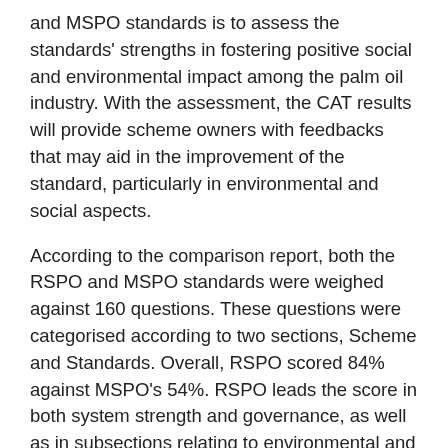and MSPO standards is to assess the standards' strengths in fostering positive social and environmental impact among the palm oil industry. With the assessment, the CAT results will provide scheme owners with feedbacks that may aid in the improvement of the standard, particularly in environmental and social aspects.
According to the comparison report, both the RSPO and MSPO standards were weighed against 160 questions. These questions were categorised according to two sections, Scheme and Standards. Overall, RSPO scored 84% against MSPO's 54%. RSPO leads the score in both system strength and governance, as well as in subsections relating to environmental and social strength. MSPO, on the other hand, scored not far behind RSPO in subsections relating to environmental and social strength, with a score of 68% against RSPO's score of 78%. Overall, MSPO received a medium score in all sections, meaning that there is room for improvement in both Scheme and Standards sections. The weakest item in the Scheme section is the